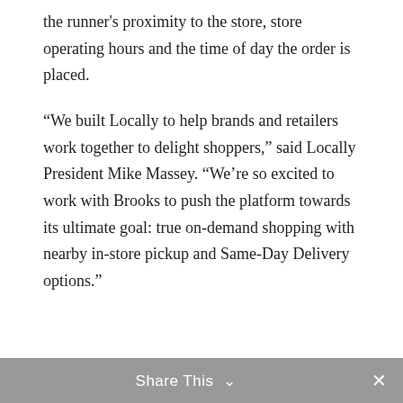the runner's proximity to the store, store operating hours and the time of day the order is placed.
“We built Locally to help brands and retailers work together to delight shoppers,” said Locally President Mike Massey. “We’re so excited to work with Brooks to push the platform towards its ultimate goal: true on-demand shopping with nearby in-store pickup and Same-Day Delivery options.”
The launch cities include:
Atlanta
Baltimore
Share This ⌄  ×